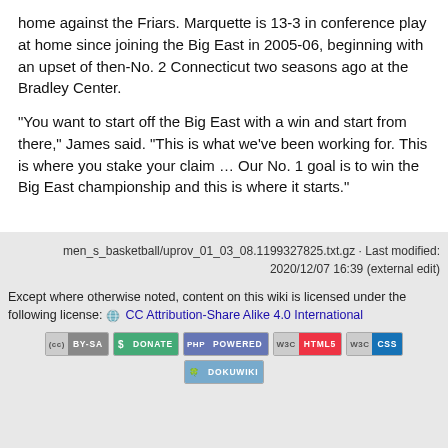home against the Friars. Marquette is 13-3 in conference play at home since joining the Big East in 2005-06, beginning with an upset of then-No. 2 Connecticut two seasons ago at the Bradley Center.

“You want to start off the Big East with a win and start from there,” James said. “This is what we’ve been working for. This is where you stake your claim … Our No. 1 goal is to win the Big East championship and this is where it starts.”
men_s_basketball/uprov_01_03_08.1199327825.txt.gz · Last modified: 2020/12/07 16:39 (external edit)
Except where otherwise noted, content on this wiki is licensed under the following license: CC Attribution-Share Alike 4.0 International